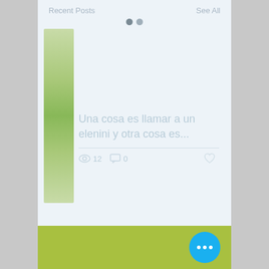Recent Posts    See All
[Figure (screenshot): Navigation pagination dots (two dark circles) indicating current position in a carousel]
[Figure (photo): Thumbnail photo of green plants/nature on left side of post card]
Una cosa es llamar a un elenini y otra cosa es...
[Figure (infographic): Post stats row: eye icon with 12 views, comment bubble icon with 0 comments, and a heart/like icon]
[Figure (infographic): Pagination dots at bottom of card: one active green dot and two inactive grey dots]
[Figure (other): Green/olive colored footer bar with blue circular FAB button showing three white dots (more options)]